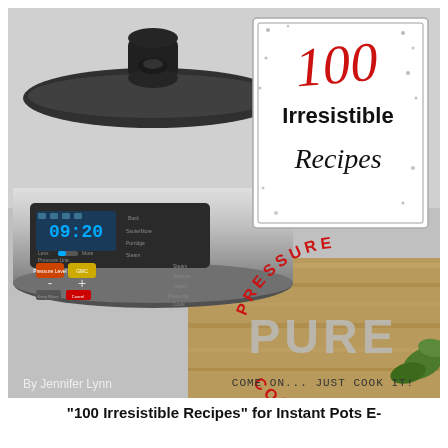[Figure (illustration): Book cover for '100 Irresistible Recipes - Pressure Pure Cooking' by Jennifer Lynn, featuring a stainless steel Instant Pot pressure cooker on a wooden surface. A white box in the upper right contains the title '100 Irresistible Recipes' in red and black script fonts. Below the pot, curved text reads 'PRESSURE COOKING' in red around the word 'PURE' in large gray block letters. Bottom text reads 'COME ON... JUST COOK IT!' and bottom left says 'By Jennifer Lynn'.]
"100 Irresistible Recipes" for Instant Pots E-